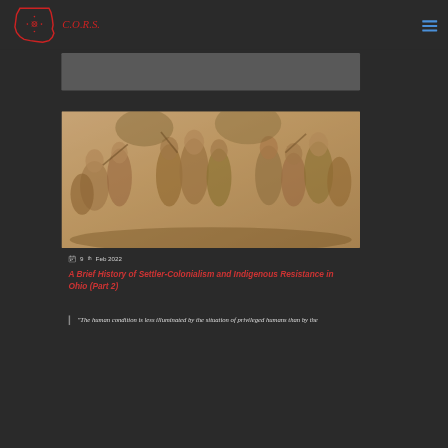C.O.R.S.
[Figure (photo): Sepia-toned relief sculpture depicting a battle scene with multiple figures in conflict, colonial-era imagery]
9th Feb 2022
A Brief History of Settler-Colonialism and Indigenous Resistance in Ohio (Part 2)
“The human condition is less illuminated by the situation of privileged humans than by the